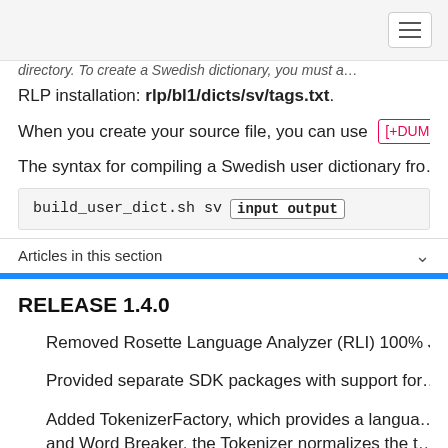directory. To create a Swedish dictionary, you must a... RLP installation: rlp/bl1/dicts/sv/tags.txt.
When you create your source file, you can use [+DUMMY...
The syntax for compiling a Swedish user dictionary fro...
build_user_dict.sh sv input output
Articles in this section
RELEASE 1.4.0
Removed Rosette Language Analyzer (RLI) 100% Ja...
Provided separate SDK packages with support for...
Added TokenizerFactory, which provides a langua... and Word Breaker, the Tokenizer normalizes the t...